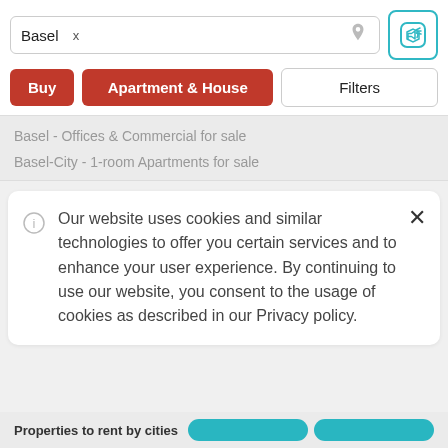[Figure (screenshot): Search bar with 'Basel x' tag, location pin icon, and teal alert/megaphone button]
[Figure (screenshot): Filter row with red 'Buy' button, red 'Apartment & House' button, and 'Filters' button]
Basel - Offices & Commercial for sale
Basel-City - 1-room Apartments for sale
Our website uses cookies and similar technologies to offer you certain services and to enhance your user experience. By continuing to use our website, you consent to the usage of cookies as described in our Privacy policy.
Properties to rent by cities